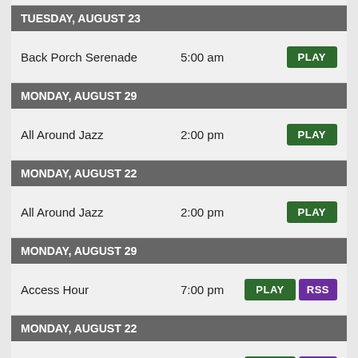TUESDAY, AUGUST 23
Back Porch Serenade  5:00 am  PLAY
MONDAY, AUGUST 29
All Around Jazz  2:00 pm  PLAY
MONDAY, AUGUST 22
All Around Jazz  2:00 pm  PLAY
MONDAY, AUGUST 29
Access Hour  7:00 pm  PLAY  RSS
MONDAY, AUGUST 22
Access Hour  7:00 pm  PLAY  RSS
WEDNESDAY, AUGUST 31
A Public Affair - Wednesday  12:00 pm  PLAY  RSS
WEDNESDAY, AUGUST 24